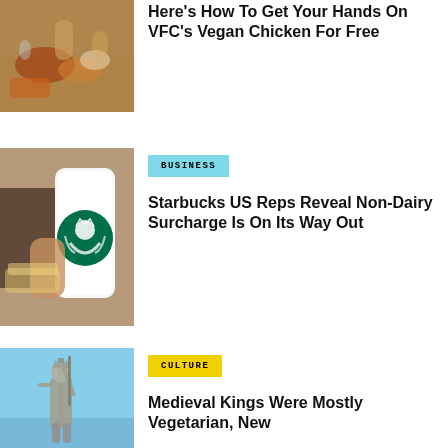[Figure (photo): People sharing a meal with fried chicken, wings, and side dishes on a table]
Here's How To Get Your Hands On VFC's Vegan Chicken For Free
[Figure (photo): Person holding a Starbucks cup with food in the background]
BUSINESS
Starbucks US Reps Reveal Non-Dairy Surcharge Is On Its Way Out
[Figure (photo): Bronze statue of a medieval king against a blue sky]
CULTURE
Medieval Kings Were Mostly Vegetarian, New